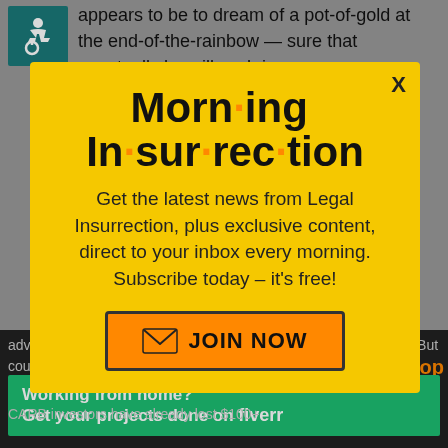appears to be to dream of a pot-of-gold at the end-of-the-rainbow — sure that eventually he will cash in.
But Carbonite will run completely out of
[Figure (illustration): Accessibility wheelchair icon in teal/dark green square]
[Figure (screenshot): Modal popup newsletter signup for Morning Insurrection with yellow background, orange JOIN NOW button]
advertising. They could break even if they stopped all advertising. But could
CARB investors have already lost $100+
[Figure (infographic): Fiverr advertisement banner: Working from home? Get your projects done on fiverr]